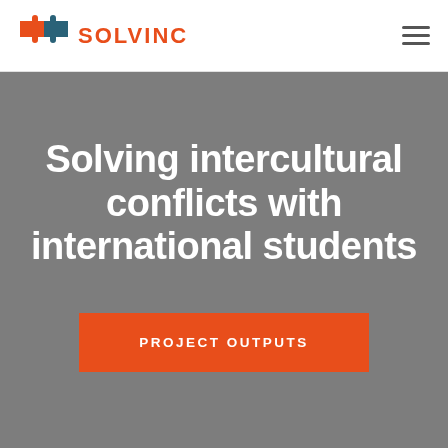[Figure (logo): SOLVINC logo with two interlocking puzzle pieces (orange and dark teal) beside the bold orange text SOLVINC]
Solving intercultural conflicts with international students
PROJECT OUTPUTS